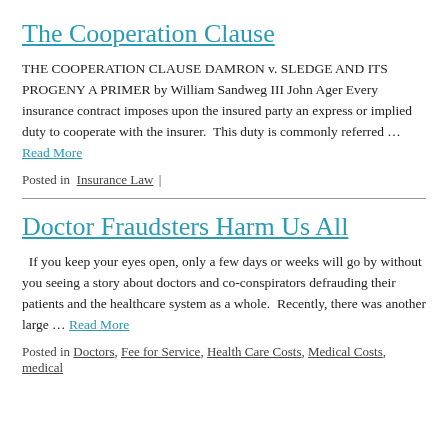The Cooperation Clause
THE COOPERATION CLAUSE DAMRON v. SLEDGE AND ITS PROGENY A PRIMER by William Sandweg III John Ager Every insurance contract imposes upon the insured party an express or implied duty to cooperate with the insurer.  This duty is commonly referred … Read More
Posted in Insurance Law |
Doctor Fraudsters Harm Us All
If you keep your eyes open, only a few days or weeks will go by without you seeing a story about doctors and co-conspirators defrauding their patients and the healthcare system as a whole.  Recently, there was another large … Read More
Posted in Doctors, Fee for Service, Health Care Costs, Medical Costs, medical ethics, Medical Malpractice, Medicare |